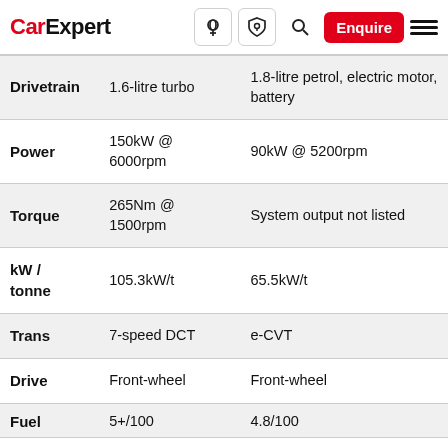CarExpert — Enquire
|  | Col1 | Col2 |
| --- | --- | --- |
| Drivetrain | 1.6-litre turbo | 1.8-litre petrol, electric motor, battery |
| Power | 150kW @ 6000rpm | 90kW @ 5200rpm |
| Torque | 265Nm @ 1500rpm | System output not listed |
| kW / tonne | 105.3kW/t | 65.5kW/t |
| Trans | 7-speed DCT | e-CVT |
| Drive | Front-wheel | Front-wheel |
| Fuel (partial) | 5+/100 | 4.8/100 |